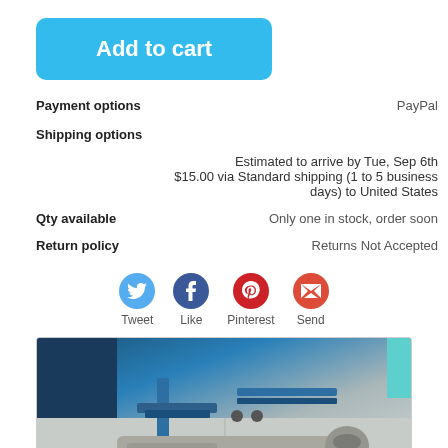Add to cart
Payment options	PayPal
Shipping options
Estimated to arrive by Tue, Sep 6th
$15.00 via Standard shipping (1 to 5 business days) to United States
Qty available	Only one in stock, order soon
Return policy	Returns Not Accepted
[Figure (other): Social sharing buttons: Tweet, Like, Pinterest, Send]
[Figure (photo): Photo of a gray car sun visor / interior part in a garage or auto shop setting, with blue equipment visible in background]